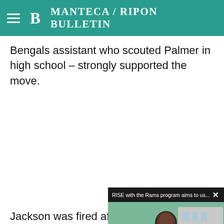Manteca / Ripon Bulletin
Bengals assistant who scouted Palmer in high school – strongly supported the move.
[Figure (screenshot): Video overlay showing 'RISE with the Rams program aims to us...' with a man in a suit outdoors, a mute button, and a caption bar with Rams logo reading 'Rise with the Rams: Using the power of sports to build community connections to end racism']
Jackson was fired after an the Bengals as an assistan